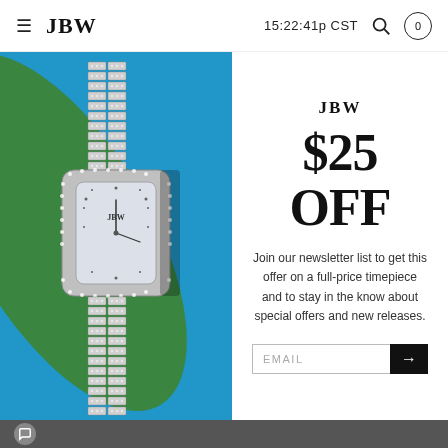JBW  15:22:41p CST
[Figure (photo): A diamond-encrusted silver luxury watch with a rectangular face displaying 'JBW', photographed on a blue background with green leaf, showing the heavily jeweled bracelet band.]
JBW
$25 OFF
Join our newsletter list to get this offer on a full-price timepiece and to stay in the know about special offers and new releases.
EMAIL